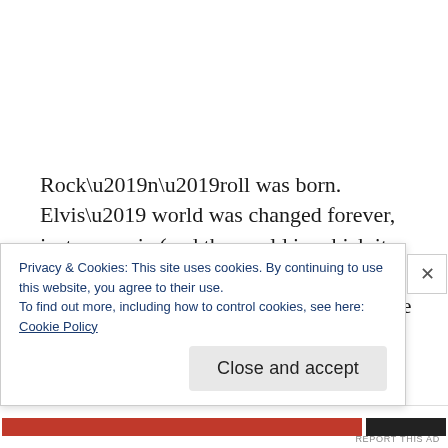Rock’n’roll was born. Elvis’ world was changed forever, just as music (and the world in which it existed) forever changed. Until that time, black music was as segregated from white music (and its respective audiences) as society was in
Privacy & Cookies: This site uses cookies. By continuing to use this website, you agree to their use.
To find out more, including how to control cookies, see here:
Cookie Policy
Close and accept